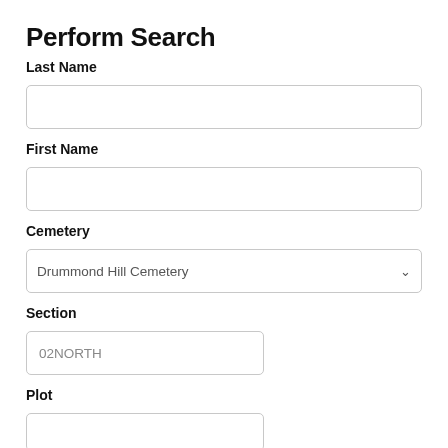Perform Search
Last Name
[Figure (other): Empty text input field for Last Name]
First Name
[Figure (other): Empty text input field for First Name]
Cemetery
[Figure (other): Dropdown select input showing 'Drummond Hill Cemetery']
Section
[Figure (other): Text input field showing '02NORTH']
Plot
[Figure (other): Partially visible text input field for Plot]